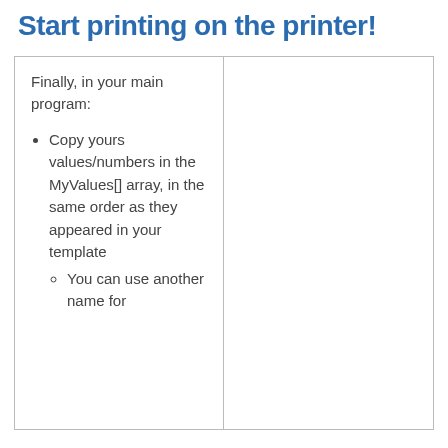Start printing on the printer!
Finally, in your main program:
Copy yours values/numbers in the MyValues[] array, in the same order as they appeared in your template
You can use another name for